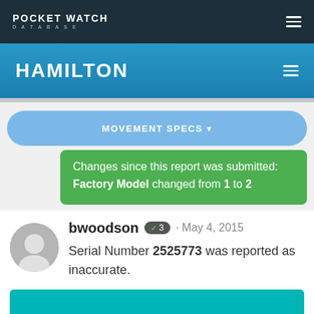POCKET WATCH DATABASE
HAMILTON
MOVEMENT SPECS
Changes since this report was submitted: Factory Model changed from 1 to 2
bwoodson · 3 · May 4, 2015
Serial Number 2525773 was reported as inaccurate.